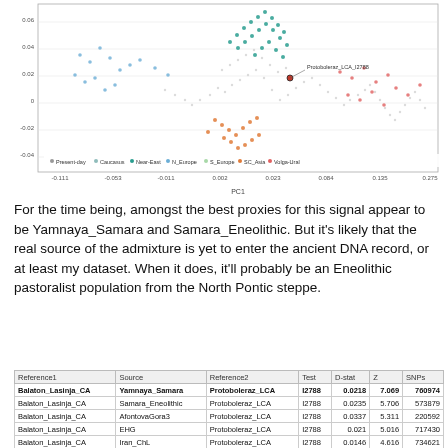[Figure (continuous-plot): Scatter plot / PCA plot showing ancient and modern population clusters in genetic space. Points color-coded by group: teal/dark-cyan cluster (center-top), light blue scatter (left), orange/brown cluster (bottom-center), red/pink scatter (right), gray background points. Groups labeled: Present-day, Caucasus, Near-East, N_Europe, S_Europe, SC_Asia, Volga-Ural. A point is labeled 'Protoboleraz_LCA_I2788'. X-axis shows PC1 values from approx -0.111 to 0.275, Y-axis shows PC2 values from approx -0.08 to 0.06.]
For the time being, amongst the best proxies for this signal appear to be Yamnaya_Samara and Samara_Eneolithic. But it's likely that the real source of the admixture is yet to enter the ancient DNA record, or at least my dataset. When it does, it'll probably be an Eneolithic pastoralist population from the North Pontic steppe.
| Reference1 | Source | Reference2 | Test | D-stat | Z | SNPs |
| --- | --- | --- | --- | --- | --- | --- |
| Balaton_Lasinja_CA | Yamnaya_Samara | Protoboleraz_LCA | I2788 | 0.0218 | 7.069 | 760974 |
| Balaton_Lasinja_CA | Samara_Eneolithic | Protoboleraz_LCA | I2788 | 0.0235 | 5.706 | 573879 |
| Balaton_Lasinja_CA | AfontovaGora3 | Protoboleraz_LCA | I2788 | 0.0337 | 5.311 | 220592 |
| Balaton_Lasinja_CA | EHG | Protoboleraz_LCA | I2788 | 0.021 | 5.016 | 717430 |
| Balaton_Lasinja_CA | Iran_ChL | Protoboleraz_LCA | I2788 | 0.0146 | 4.616 | 734621 |
| Balaton_Lasinja_CA | CHG | Protoboleraz_LCA | I2788 | 0.0187 | 4.562 | 762795 |
| Balaton_Lasinja_CA | Iran_N | Protoboleraz_LCA | I2788 | 0.0146 | 4.51 | 763118 |
| Balaton_Lasinja_CA | Armenia_ChL | Protoboleraz_LCA | I2788 | 0.014 | 4.448 | 744848 |
| Balaton_Lasinja_CA | Armenia_EBA | Protoboleraz_LCA | I2788 | 0.0101 | 2.95 | 727744 |